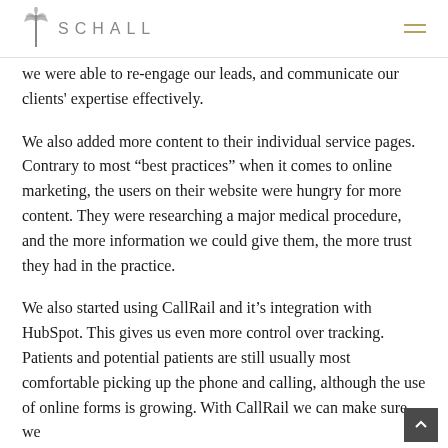SCHALL
we were able to re-engage our leads, and communicate our clients' expertise effectively.
We also added more content to their individual service pages. Contrary to most “best practices” when it comes to online marketing, the users on their website were hungry for more content. They were researching a major medical procedure, and the more information we could give them, the more trust they had in the practice.
We also started using CallRail and it’s integration with HubSpot. This gives us even more control over tracking. Patients and potential patients are still usually most comfortable picking up the phone and calling, although the use of online forms is growing. With CallRail we can make sure we